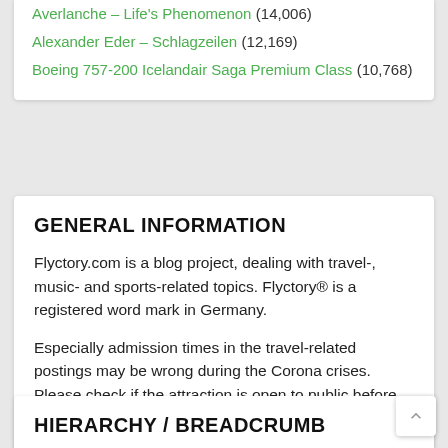Averlanche – Life's Phenomenon (14,006)
Alexander Eder – Schlagzeilen (12,169)
Boeing 757-200 Icelandair Saga Premium Class (10,768)
GENERAL INFORMATION
Flyctory.com is a blog project, dealing with travel-, music- and sports-related topics. Flyctory® is a registered word mark in Germany.
Especially admission times in the travel-related postings may be wrong during the Corona crises. Please check if the attraction is open to public before visiting.
HIERARCHY / BREADCRUMB